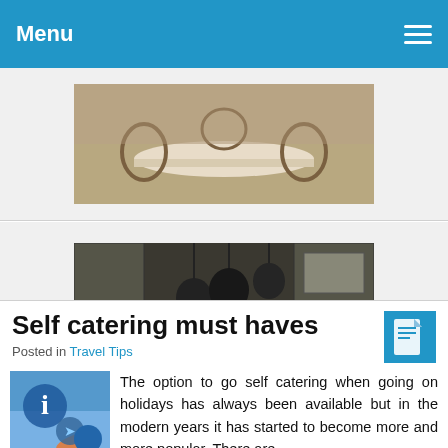Menu
[Figure (photo): Photo of a dining room with a table and chairs]
[Figure (photo): Photo of a modern kitchen with pendant lights, large island, and stainless steel appliances]
Self catering must haves
Posted in Travel Tips
The option to go self catering when going on holidays has always been available but in the modern years it has started to become more and more popular. There are